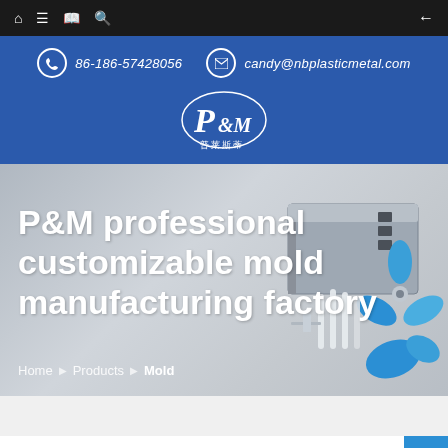Navigation bar with home, menu, book, search icons and back arrow
86-186-57428056  candy@nbplasticmetal.com
[Figure (logo): P&M logo with stylized P&M letters and Chinese characters below]
[Figure (photo): Hero banner showing industrial molds, syringes/vials, and blue plastic fan/propeller parts on gray background]
P&M professional customizable mold manufacturing factory
Home ▶ Products ▶ Mold
P&M Professional Customizable Mold